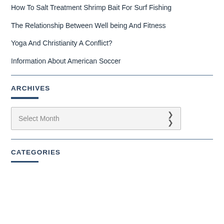How To Salt Treatment Shrimp Bait For Surf Fishing
The Relationship Between Well being And Fitness
Yoga And Christianity A Conflict?
Information About American Soccer
ARCHIVES
[Figure (other): Select Month dropdown widget]
CATEGORIES